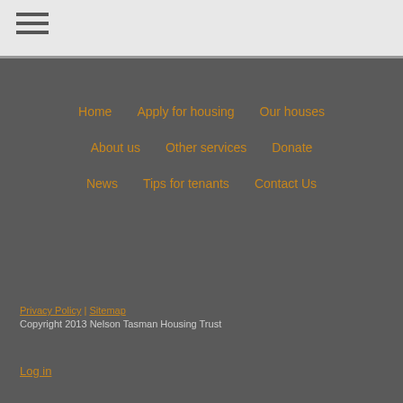[Figure (other): Hamburger menu icon (three horizontal lines) in the top-left header bar]
Home
Apply for housing
Our houses
About us
Other services
Donate
News
Tips for tenants
Contact Us
Privacy Policy | Sitemap
Copyright 2013 Nelson Tasman Housing Trust
Log in